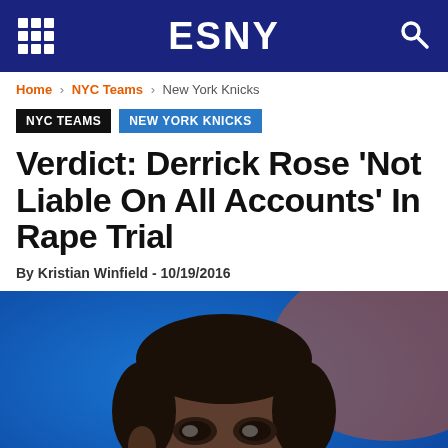ESNY
Home › NYC Teams › New York Knicks
NYC TEAMS  NEW YORK KNICKS
Verdict: Derrick Rose 'Not Liable On All Accounts' In Rape Trial
By Kristian Winfield - 10/19/2016
[Figure (photo): Photo of Derrick Rose, a Black man with short hair and beard, looking to the side, with a blue and orange background]